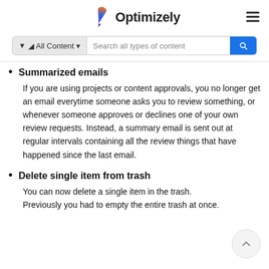Optimizely
Summarized emails
If you are using projects or content approvals, you no longer get an email everytime someone asks you to review something, or whenever someone approves or declines one of your own review requests. Instead, a summary email is sent out at regular intervals containing all the review things that have happened since the last email.
Delete single item from trash
You can now delete a single item in the trash. Previously you had to empty the entire trash at once.